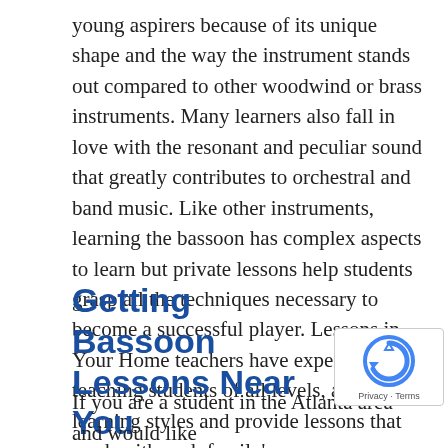young aspirers because of its unique shape and the way the instrument stands out compared to other woodwind or brass instruments. Many learners also fall in love with the resonant and peculiar sound that greatly contributes to orchestral and band music. Like other instruments, learning the bassoon has complex aspects to learn but private lessons help students grasp all the techniques necessary to become a successful player. Lessons in Your Home teachers have experience teaching students of all levels, ages, and learning styles and provide lessons that work with each family's pace.
Getting Bassoon Lessons Near You
If you are a student in the Atlanta area and would like